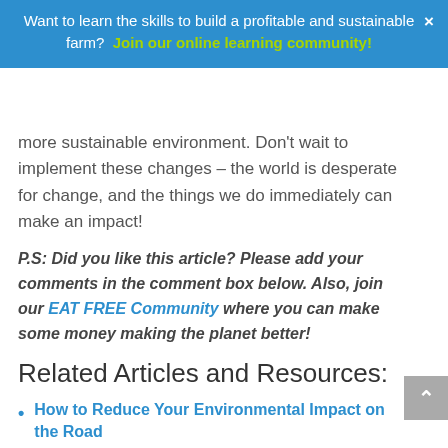Want to learn the skills to build a profitable and sustainable farm? Join our online learning community!
more sustainable environment. Don't wait to implement these changes – the world is desperate for change, and the things we do immediately can make an impact!
P.S: Did you like this article? Please add your comments in the comment box below. Also, join our EAT FREE Community where you can make some money making the planet better!
Related Articles and Resources:
How to Reduce Your Environmental Impact on the Road
Turn your Trash into Cash –